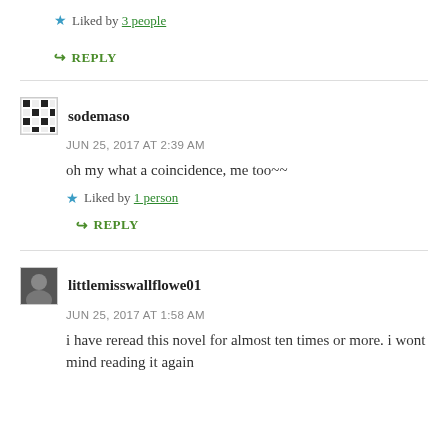Liked by 3 people
REPLY
sodemaso
JUN 25, 2017 AT 2:39 AM
oh my what a coincidence, me too~~
Liked by 1 person
REPLY
littlemisswallflowe01
JUN 25, 2017 AT 1:58 AM
i have reread this novel for almost ten times or more. i wont mind reading it again